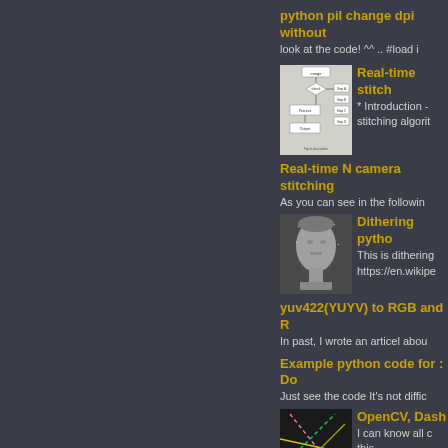python pil change dpi without
look at the code! ^^ .. #load i
Real-time stitch
[Figure (flowchart): Flowchart diagram showing image stitching algorithm steps]
* Introduction - stitching algorit
Real-time N camera stitching
As you can see in the followin
Dithering pytho
[Figure (photo): Black and white dithered photo of Michelangelo's David sculpture]
This is dithering https://en.wikipe
yuv422(YUYV) to RGB and R
In past, I wrote an articel abou
Example python code for : Do
Just see the code It's not diffic
OpenCV, Dash
[Figure (screenshot): Screenshot showing colored diagonal lines (pink, green, yellow) on dark background]
I can know all c this...